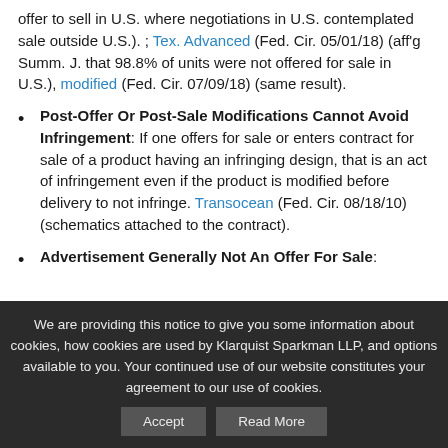offer to sell in U.S. where negotiations in U.S. contemplated sale outside U.S.). ; Tex. Advanced (Fed. Cir. 05/01/18) (aff'g Summ. J. that 98.8% of units were not offered for sale in U.S.), modified (Fed. Cir. 07/09/18) (same result).
Post-Offer Or Post-Sale Modifications Cannot Avoid Infringement: If one offers for sale or enters contract for sale of a product having an infringing design, that is an act of infringement even if the product is modified before delivery to not infringe. Transocean (Fed. Cir. 08/18/10) (schematics attached to the contract).
Advertisement Generally Not An Offer For Sale:
We are providing this notice to give you some information about cookies, how cookies are used by Klarquist Sparkman LLP, and options available to you. Your continued use of our website constitutes your agreement to our use of cookies.